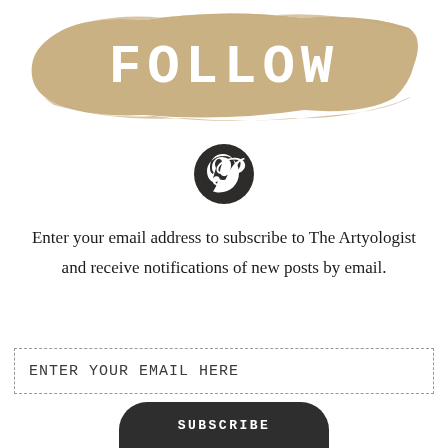FOLLOW
[Figure (logo): Pinterest logo icon — white 'P' on dark gray/charcoal circular background]
Enter your email address to subscribe to The Artyologist and receive notifications of new posts by email.
ENTER YOUR EMAIL HERE
SUBSCRIBE